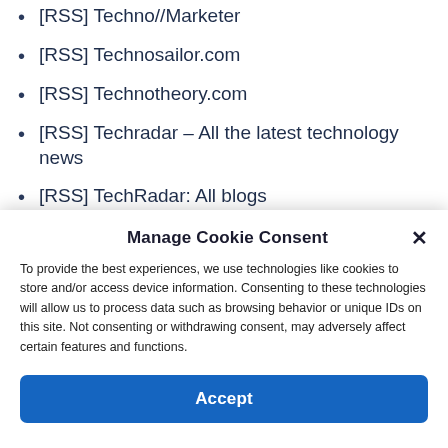[RSS] Techno//Marketer
[RSS] Technosailor.com
[RSS] Technotheory.com
[RSS] Techradar – All the latest technology news
[RSS] TechRadar: All blogs
[RSS] TechRadar: All Internet feeds
[RSS] Tech-Surf-Blog
Manage Cookie Consent
To provide the best experiences, we use technologies like cookies to store and/or access device information. Consenting to these technologies will allow us to process data such as browsing behavior or unique IDs on this site. Not consenting or withdrawing consent, may adversely affect certain features and functions.
Accept